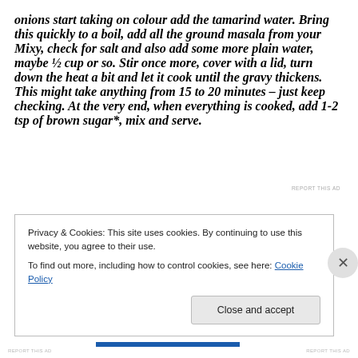onions start taking on colour add the tamarind water. Bring this quickly to a boil, add all the ground masala from your Mixy, check for salt and also add some more plain water, maybe ½ cup or so. Stir once more, cover with a lid, turn down the heat a bit and let it cook until the gravy thickens. This might take anything from 15 to 20 minutes – just keep checking. At the very end, when everything is cooked, add 1-2 tsp of brown sugar*, mix and serve.
REPORT THIS AD
Privacy & Cookies: This site uses cookies. By continuing to use this website, you agree to their use.
To find out more, including how to control cookies, see here: Cookie Policy
Close and accept